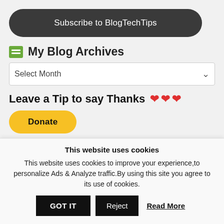Subscribe to BlogTechTips
My Blog Archives
Select Month
Leave a Tip to say Thanks ❤ ❤ ❤
[Figure (other): PayPal Donate button with payment card icons (Visa, Mastercard, Maestro, American Express, Discover, JCB)]
Advertisements
This website uses cookies
This website uses cookies to improve your experience,to personalize Ads & Analyze traffic.By using this site you agree to its use of cookies.
GOT IT   Reject   Read More